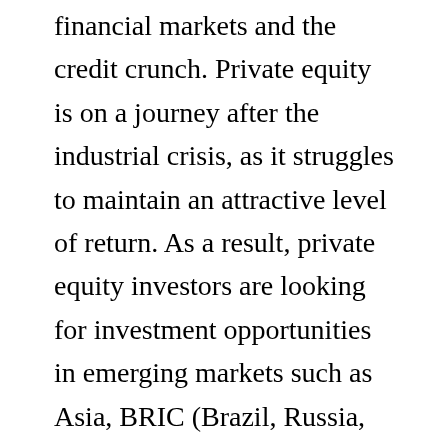financial markets and the credit crunch. Private equity is on a journey after the industrial crisis, as it struggles to maintain an attractive level of return. As a result, private equity investors are looking for investment opportunities in emerging markets such as Asia, BRIC (Brazil, Russia, India and China) and Africa.
Nevertheless, private equity investors face a number of challenges in this new market.